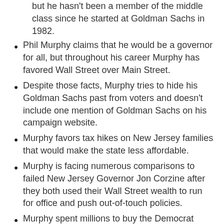but he hasn't been a member of the middle class since he started at Goldman Sachs in 1982.
Phil Murphy claims that he would be a governor for all, but throughout his career Murphy has favored Wall Street over Main Street.
Despite those facts, Murphy tries to hide his Goldman Sachs past from voters and doesn't include one mention of Goldman Sachs on his campaign website.
Murphy favors tax hikes on New Jersey families that would make the state less affordable.
Murphy is facing numerous comparisons to failed New Jersey Governor Jon Corzine after they both used their Wall Street wealth to run for office and push out-of-touch policies.
Murphy spent millions to buy the Democrat nomination, using his personal wealth to purchase political favors and endorsements.